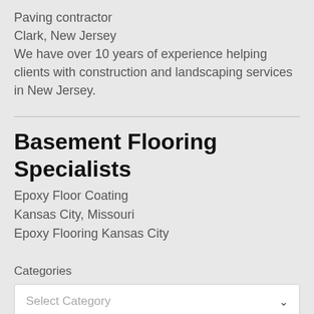Paving contractor
Clark, New Jersey
We have over 10 years of experience helping clients with construction and landscaping services in New Jersey.
Basement Flooring Specialists
Epoxy Floor Coating
Kansas City, Missouri
Epoxy Flooring Kansas City
Categories
Select Category